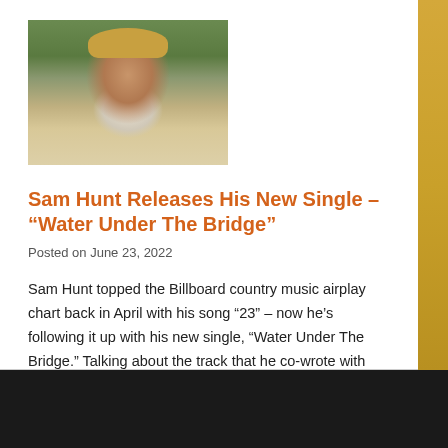[Figure (photo): Photo of Sam Hunt, a bearded man wearing a cap and white shirt, in an outdoor setting with greenery]
Sam Hunt Releases His New Single – “Water Under The Bridge”
Posted on June 23, 2022
Sam Hunt topped the Billboard country music airplay chart back in April with his song “23” – now he’s following it up with his new single, “Water Under The Bridge.” Talking about the track that he co-wrote with Chris LaCorte, Shane McAnally and Josh Osborne, Sam says “It’s a song that is literally about ‘Water……
MORE